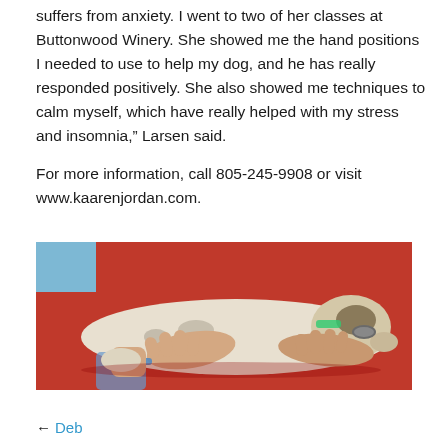suffers from anxiety. I went to two of her classes at Buttonwood Winery. She showed me the hand positions I needed to use to help my dog, and he has really responded positively. She also showed me techniques to calm myself, which have really helped with my stress and insomnia," Larsen said.
For more information, call 805-245-9908 or visit www.kaarenjordan.com.
[Figure (photo): Hands gently placed on a white and grey dog lying on a red surface, appearing to perform a calming or healing touch technique.]
← Deb